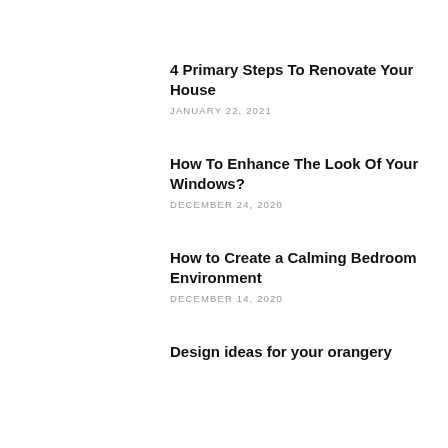4 Primary Steps To Renovate Your House
JANUARY 22, 2021
How To Enhance The Look Of Your Windows?
DECEMBER 24, 2020
How to Create a Calming Bedroom Environment
DECEMBER 14, 2020
Design ideas for your orangery